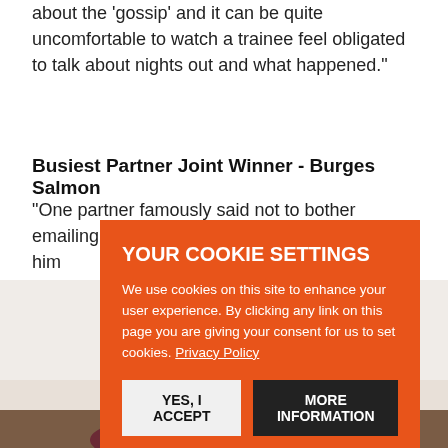about the 'gossip' and it can be quite uncomfortable to watch a trainee feel obligated to talk about nights out and what happened."
Busiest Partner Joint Winner - Burges Salmon
"One partner famously said not to bother emailing him [the partner] is no one
Busi
"The 'FUC ever
[Figure (photo): A woman with dark hair looking downward, seated at a desk, against a light background]
[Figure (screenshot): Cookie consent overlay with orange background. Title: YOUR COOKIE SETTINGS. Body: We use cookies on this site to enhance your user experience. By clicking any link on this page you are giving your consent for us to set cookies. Privacy Policy. Buttons: YES, I ACCEPT and MORE INFORMATION.]